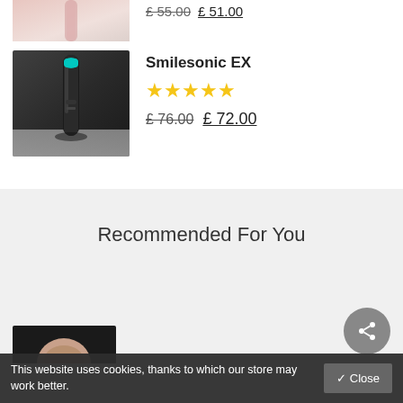[Figure (photo): Partial view of a pink/rose colored product on white background]
£ 55.00  £ 51.00
[Figure (photo): Black Smilesonic EX electric toothbrush on dark background]
Smilesonic EX
★★★★★
£ 76.00  £ 72.00
Recommended For You
[Figure (photo): Partial view of a person/product photo in recommended section]
This website uses cookies, thanks to which our store may work better.
✓ Close